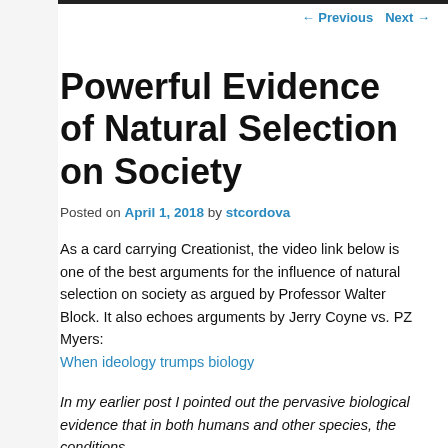← Previous   Next →
Powerful Evidence of Natural Selection on Society
Posted on April 1, 2018 by stcordova
As a card carrying Creationist, the video link below is one of the best arguments for the influence of natural selection on society as argued by Professor Walter Block. It also echoes arguments by Jerry Coyne vs. PZ Myers:
When ideology trumps biology
In my earlier post I pointed out the pervasive biological evidence that in both humans and other species, the conditions